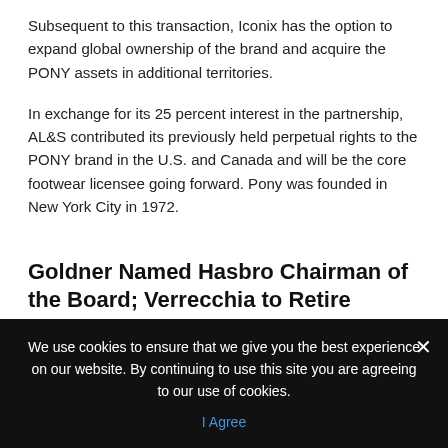Subsequent to this transaction, Iconix has the option to expand global ownership of the brand and acquire the PONY assets in additional territories.
In exchange for its 25 percent interest in the partnership, AL&S contributed its previously held perpetual rights to the PONY brand in the U.S. and Canada and will be the core footwear licensee going forward. Pony was founded in New York City in 1972.
Goldner Named Hasbro Chairman of the Board; Verrecchia to Retire
We use cookies to ensure that we give you the best experience on our website. By continuing to use this site you are agreeing to our use of cookies.